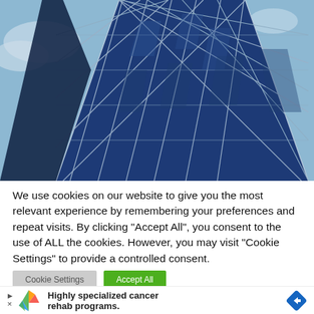[Figure (photo): Close-up photo of a modern glass skyscraper with a blue geometric triangular facade pattern against a partly cloudy sky.]
We use cookies on our website to give you the most relevant experience by remembering your preferences and repeat visits. By clicking "Accept All", you consent to the use of ALL the cookies. However, you may visit "Cookie Settings" to provide a controlled consent.
[Figure (infographic): Advertisement banner: colorful leaf/wing logo icon, text 'Highly specialized cancer rehab programs.', blue diamond arrow icon on right. Play/close icons on left.]